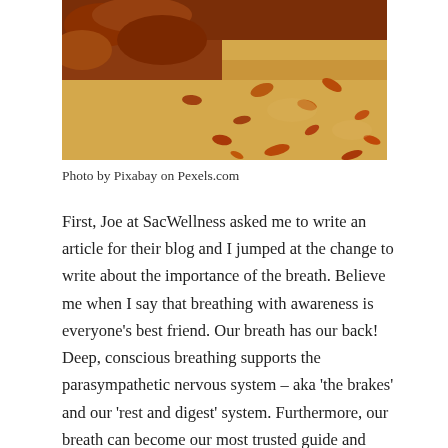[Figure (photo): Autumn fallen leaves scattered on sandy ground, warm orange and golden tones]
Photo by Pixabay on Pexels.com
First, Joe at SacWellness asked me to write an article for their blog and I jumped at the change to write about the importance of the breath. Believe me when I say that breathing with awareness is everyone's best friend. Our breath has our back! Deep, conscious breathing supports the parasympathetic nervous system – aka 'the brakes'  and our 'rest and digest' system. Furthermore, our breath can become our most trusted guide and most easily accessed inner resource. Here's the link to the article with video: https://sacwellness.com/the-importance-of-breathing/ My YouTube channel has additional